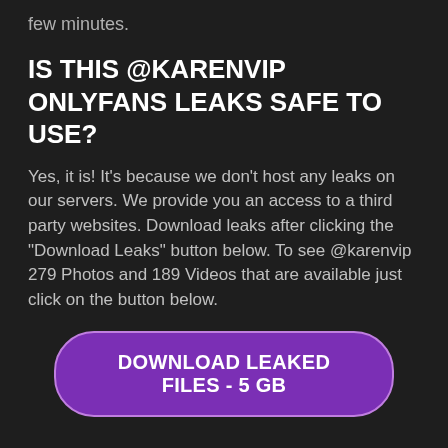few minutes.
IS THIS @KARENVIP ONLYFANS LEAKS SAFE TO USE?
Yes, it is! It's because we don't host any leaks on our servers. We provide you an access to a third party websites. Download leaks after clicking the "Download Leaks" button below. To see @karenvip 279 Photos and 189 Videos that are available just click on the button below.
DOWNLOAD LEAKED FILES - 5 GB